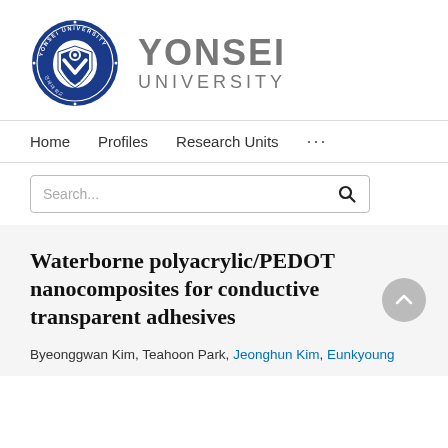[Figure (logo): Yonsei University seal/crest logo (circular blue seal with shield design and text 'YONSEI UNIVERSITY 1885') next to 'YONSEI UNIVERSITY' text in large gray letters]
Home   Profiles   Research Units   ...
Search...
Waterborne polyacrylic/PEDOT nanocomposites for conductive transparent adhesives
Byeonggwan Kim, Teahoon Park, Jeonghun Kim, Eunkyoung